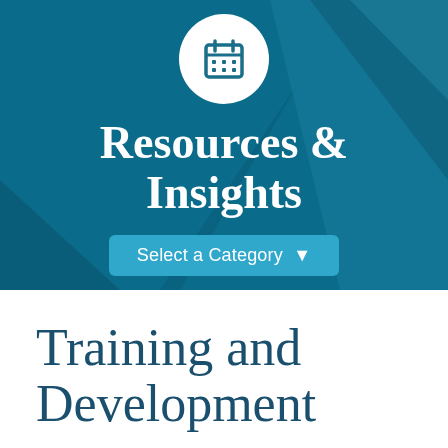[Figure (illustration): Hero banner with dark teal background featuring geometric triangular shapes. A white circle with a calendar/grid icon is centered at the top.]
Resources & Insights
Select a Category ▼
Training and Development